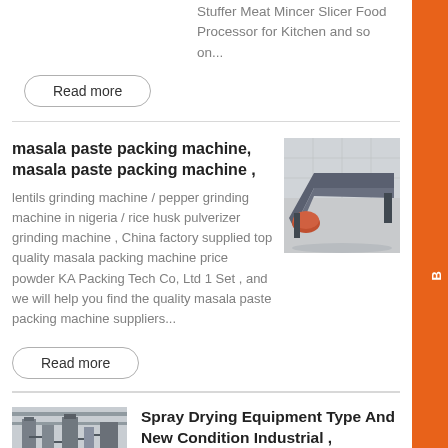Stuffer Meat Mincer Slicer Food Processor for Kitchen and so on...
Read more
masala paste packing machine, masala paste packing machine ,
lentils grinding machine / pepper grinding machine in nigeria / rice husk pulverizer grinding machine , China factory supplied top quality masala packing machine price powder KA Packing Tech Co, Ltd 1 Set , and we will help you find the quality masala paste packing machine suppliers...
[Figure (photo): Industrial machine - metal frame or conveyor structure in a factory/warehouse setting]
Read more
[Figure (photo): Industrial spray drying equipment in a factory setting]
Spray Drying Equipment Type And New Condition Industrial ,